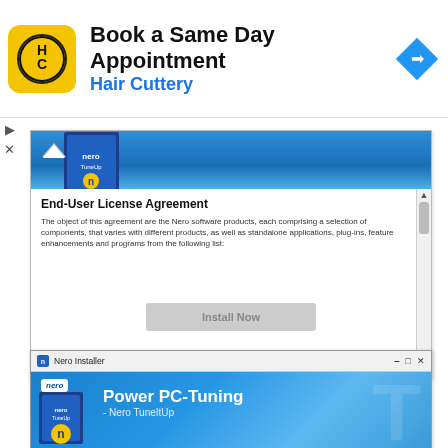[Figure (screenshot): Hair Cuttery advertisement banner with logo showing HC letters in black circle on yellow background, text 'Book a Same Day Appointment' and 'Hair Cuttery' in blue, and blue navigation arrow icon on right]
[Figure (screenshot): Nero installer upper window showing End-User License Agreement text panel with scrollbar, greyed-out Install Now button, checkbox 'I accept the terms in the license agreement', and Customize link. Blue gradient header with product box visible at top.]
[Figure (screenshot): Nero Installer window title bar and blue gradient body showing Nero TuneItUp product box, bold white text 'Power PC-Tuning' and '- Nero TuneItUp']